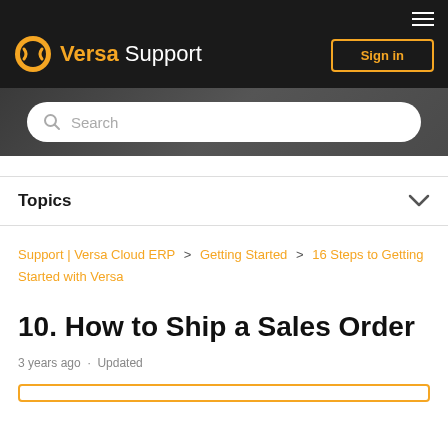Versa Support — Sign in
[Figure (screenshot): Search bar with placeholder text 'Search' on dark hero background]
Topics
Support | Versa Cloud ERP > Getting Started > 16 Steps to Getting Started with Versa
10. How to Ship a Sales Order
3 years ago · Updated